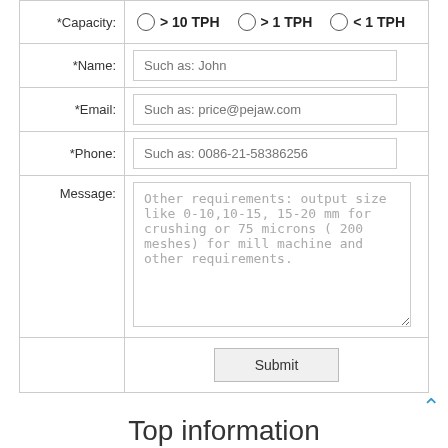| Field | Value |
| --- | --- |
| *Capacity: | > 10 TPH   > 1 TPH   < 1 TPH |
| *Name: | Such as: John |
| *Email: | Such as: price@pejaw.com |
| *Phone: | Such as: 0086-21-58386256 |
| Message: | Other requirements: output size like 0-10,10-15, 15-20 mm for crushing or 75 microns ( 200 meshes) for mill machine and other requirements. |
|  | Submit |
Top information
China Customized Hollow Block Machine For Sale